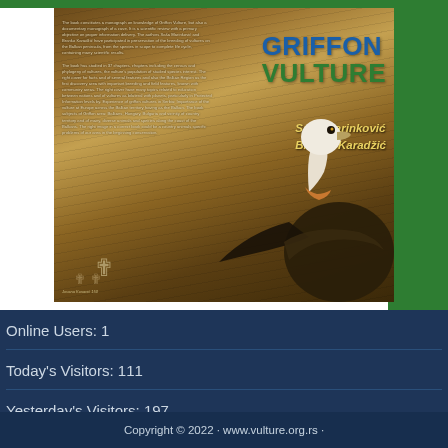[Figure (photo): Book cover of 'Griffon Vulture' by Saša Marinković and Branko Karadžić, showing a griffon vulture close-up photo with feathered background, title in blue and green text, and author names in italic gold text. Text about the book is visible on the left side of the cover.]
Online Users: 1
Today's Visitors: 111
Yesterday's Visitors: 197
Copyright © 2022 · www.vulture.org.rs ·